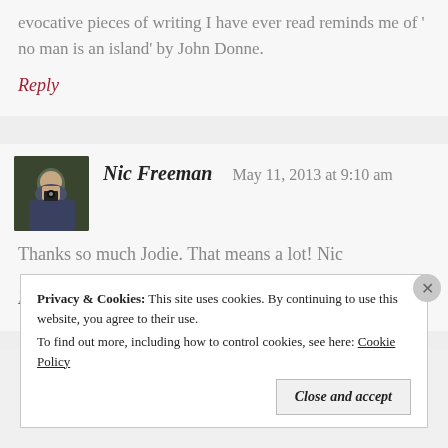evocative pieces of writing I have ever read reminds me of 'no man is an island' by John Donne.
Reply
Nic Freeman   May 11, 2013 at 9:10 am
Thanks so much Jodie. That means a lot! Nic
Reply
Privacy & Cookies:  This site uses cookies. By continuing to use this website, you agree to their use. To find out more, including how to control cookies, see here: Cookie Policy
Close and accept